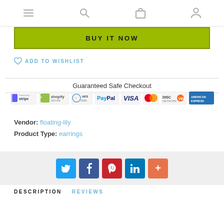Navigation bar with menu, search, bag, and account icons
[Figure (other): Green BUY IT NOW button]
♡ ADD TO WISHLIST
Guaranteed Safe Checkout
[Figure (other): Payment logos: Stripe, Shopify Secure, AES 256Bit, PayPal, VISA, Mastercard, Discover, American Express]
Vendor: floating-lily
Product Type: earrings
[Figure (other): Social share buttons: Twitter, Facebook, Pinterest, LinkedIn, More]
DESCRIPTION   REVIEWS